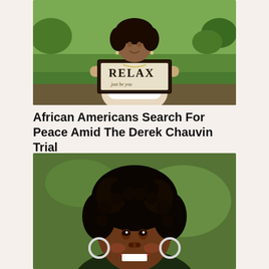[Figure (photo): Woman holding a framed sign that reads 'RELAX' standing outdoors on a green lawn]
African Americans Search For Peace Amid The Derek Chauvin Trial
In "Health"
[Figure (photo): Close-up portrait of a smiling Black woman with natural curly hair wearing hoop earrings]